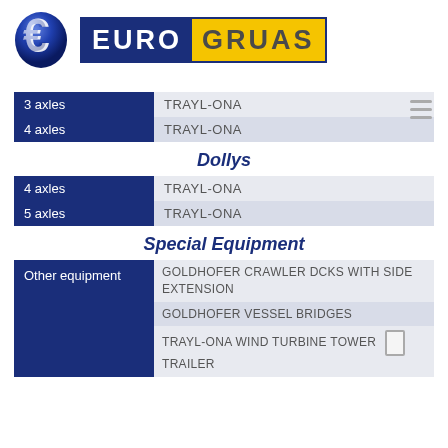[Figure (logo): Eurogruas company logo with blue 3D letter E and EURO (dark blue background) GRUAS (yellow background) text]
| 3 axles | TRAYL-ONA |
| 4 axles | TRAYL-ONA |
Dollys
| 4 axles | TRAYL-ONA |
| 5 axles | TRAYL-ONA |
Special Equipment
| Other equipment | GOLDHOFER CRAWLER DCKS WITH SIDE EXTENSION
GOLDHOFER VESSEL BRIDGES
TRAYL-ONA WIND TURBINE TOWER TRAILER |